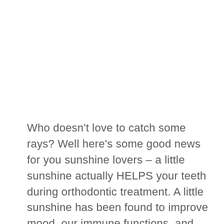Who doesn't love to catch some rays? Well here's some good news for you sunshine lovers – a little sunshine actually HELPS your teeth during orthodontic treatment. A little sunshine has been found to improve mood, our immune functions, and catalyzes vitamin D production in our bodies. Keep reading for some advice on how sunshine can help your teeth from Dr. Richard E. Boyd and Dr. Mallory Scott at Boyd Orthodontics...